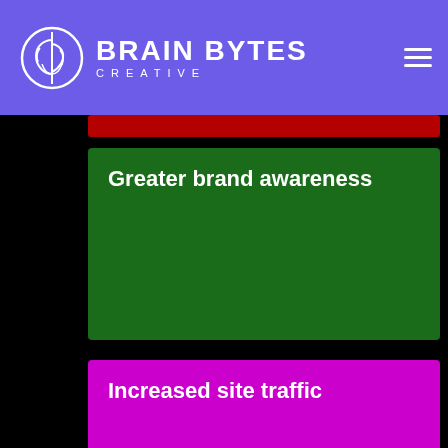BRAIN BYTES CREATIVE
Greater brand awareness
Increased site traffic
Reduced marketing spend